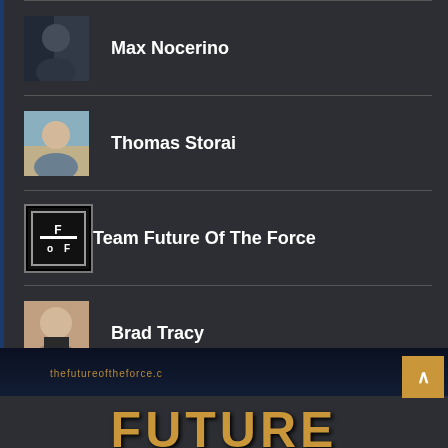Max Nocerino
Thomas Storai
Team Future Of The Force
Brad Tracy
[Figure (logo): Future Of The Force website logo with text FUTURE partially visible and URL thefutureoftheforce.c]
thefutureoftheforce.c